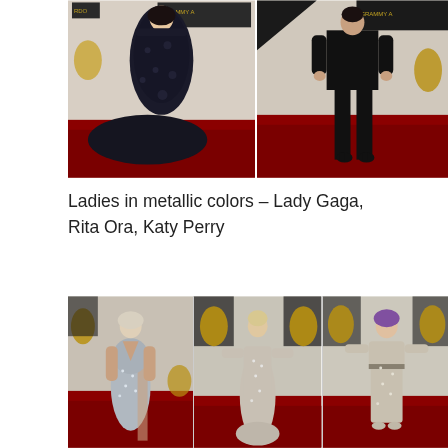[Figure (photo): Two Grammy Awards red carpet photos side by side: left shows a person in a dark floral/lace black gown with a train; right shows a person in an all-black suit and heels]
Ladies in metallic colors – Lady Gaga, Rita Ora, Katy Perry
[Figure (photo): Three Grammy Awards red carpet photos side by side: Lady Gaga in a silver sequined deep-V gown with a high slit; Rita Ora in a silver/nude full-length sparkly gown; Katy Perry with purple hair in a silver/beige sparkly midi dress]